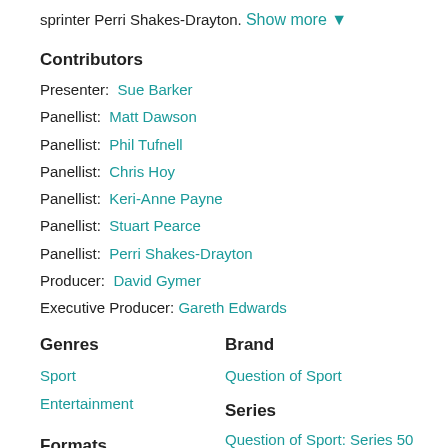sprinter Perri Shakes-Drayton. Show more ▼
Contributors
Presenter: Sue Barker
Panellist: Matt Dawson
Panellist: Phil Tufnell
Panellist: Chris Hoy
Panellist: Keri-Anne Payne
Panellist: Stuart Pearce
Panellist: Perri Shakes-Drayton
Producer: David Gymer
Executive Producer: Gareth Edwards
Genres
Sport
Entertainment
Brand
Question of Sport
Series
Question of Sport: Series 50
Formats
Games & Quizzes